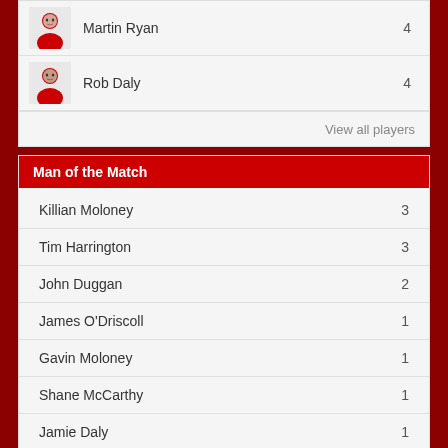| Player | Score |
| --- | --- |
| Martin Ryan | 4 |
| Rob Daly | 4 |
View all players
Man of the Match
| Player | Score |
| --- | --- |
| Killian Moloney | 3 |
| Tim Harrington | 3 |
| John Duggan | 2 |
| James O'Driscoll | 1 |
| Gavin Moloney | 1 |
| Shane McCarthy | 1 |
| Jamie Daly | 1 |
| Hugh Connell | 1 |
| Colm 'Donovan | 1 |